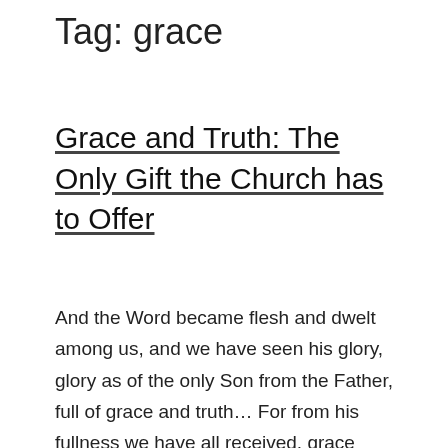Tag: grace
Grace and Truth: The Only Gift the Church has to Offer
And the Word became flesh and dwelt among us, and we have seen his glory, glory as of the only Son from the Father, full of grace and truth… For from his fullness we have all received, grace upon grace.For the law was given through Moses; grace and truth came through Jesus Christ. John 1:14, 16–17 "The world